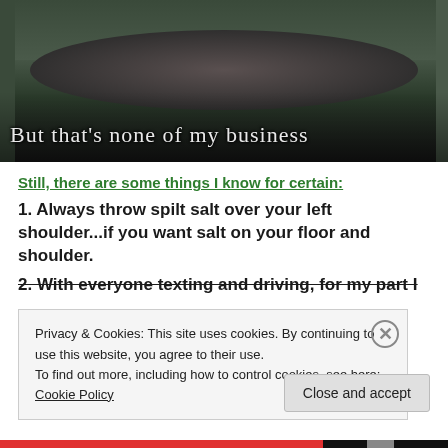[Figure (photo): A woman dressed in black with dark hair and red lipstick holding a teacup, with gothic-style text overlay reading 'But that's none of my business']
But that's none of my business
Still, there are some things I know for certain:
1. Always throw spilt salt over your left shoulder...if you want salt on your floor and shoulder.
2. With everyone texting and driving, for my part I
Privacy & Cookies: This site uses cookies. By continuing to use this website, you agree to their use.
To find out more, including how to control cookies, see here: Cookie Policy
Close and accept